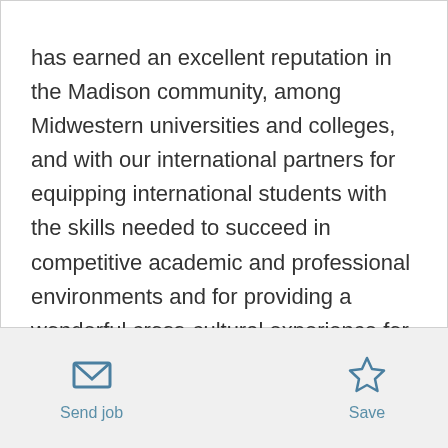has earned an excellent reputation in the Madison community, among Midwestern universities and colleges, and with our international partners for equipping international students with the skills needed to succeed in competitive academic and professional environments and for providing a wonderful cross-cultural experience for our students. Today, WESLI offers over 30 courses across seven levels, an online English program, English for the workplace, and a TEFL certification program.
Send job   Save